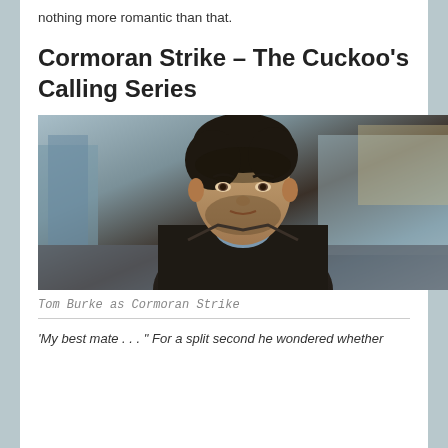nothing more romantic than that.
Cormoran Strike – The Cuckoo's Calling Series
[Figure (photo): Portrait photograph of Tom Burke as Cormoran Strike, a man with dark hair and stubble wearing a dark coat, with a blurred street scene in the background.]
Tom Burke as Cormoran Strike
'My best mate . . . " For a split second he wondered whether